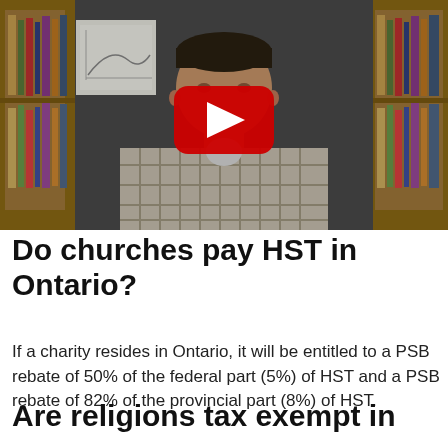[Figure (screenshot): YouTube video thumbnail showing a man in a plaid shirt seated in front of a bookshelf, with a red YouTube play button overlay in the center of the image.]
Do churches pay HST in Ontario?
If a charity resides in Ontario, it will be entitled to a PSB rebate of 50% of the federal part (5%) of HST and a PSB rebate of 82% of the provincial part (8%) of HST.
Are religions tax exempt in